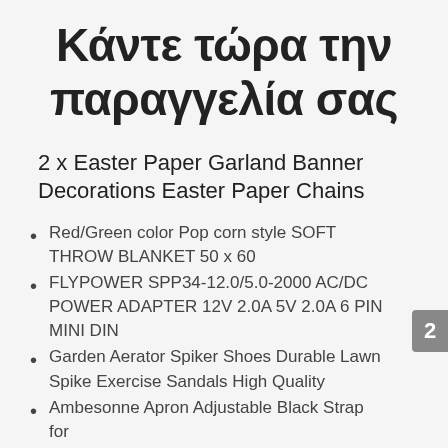Κάντε τώρα την παραγγελία σας
2 x Easter Paper Garland Banner Decorations Easter Paper Chains
Red/Green color Pop corn style SOFT THROW BLANKET 50 x 60
FLYPOWER SPP34-12.0/5.0-2000 AC/DC POWER ADAPTER 12V 2.0A 5V 2.0A 6 PIN MINI DIN
Garden Aerator Spiker Shoes Durable Lawn Spike Exercise Sandals High Quality
Ambesonne Apron Adjustable Black Strap for